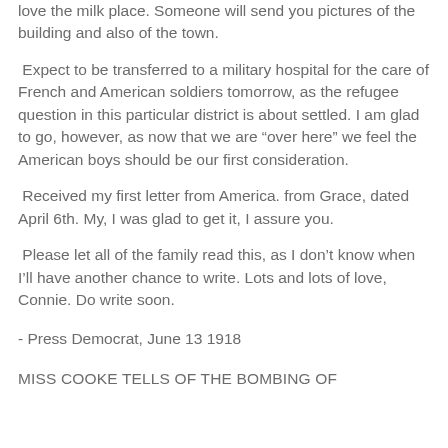love the milk place. Someone will send you pictures of the building and also of the town.
Expect to be transferred to a military hospital for the care of French and American soldiers tomorrow, as the refugee question in this particular district is about settled. I am glad to go, however, as now that we are “over here” we feel the American boys should be our first consideration.
Received my first letter from America. from Grace, dated April 6th. My, I was glad to get it, I assure you.
Please let all of the family read this, as I don’t know when I’ll have another chance to write. Lots and lots of love, Connie. Do write soon.
- Press Democrat, June 13 1918
MISS COOKE TELLS OF THE BOMBING OF